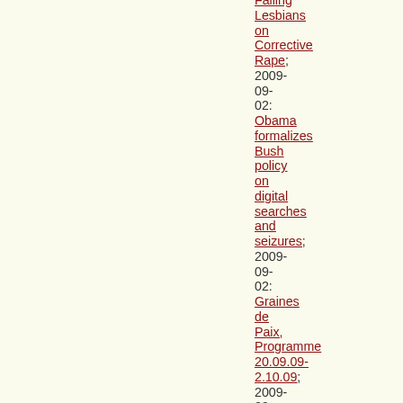Failing Lesbians on Corrective Rape; 2009-09-02: Obama formalizes Bush policy on digital searches and seizures; 2009-09-02: Graines de Paix, Programme 20.09.09-2.10.09; 2009-09-02: Attac [continued]